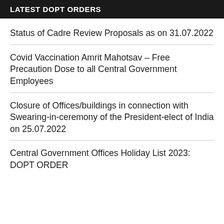LATEST DOPT ORDERS
Status of Cadre Review Proposals as on 31.07.2022
Covid Vaccination Amrit Mahotsav – Free Precaution Dose to all Central Government Employees
Closure of Offices/buildings in connection with Swearing-in-ceremony of the President-elect of India on 25.07.2022
Central Government Offices Holiday List 2023: DOPT ORDER